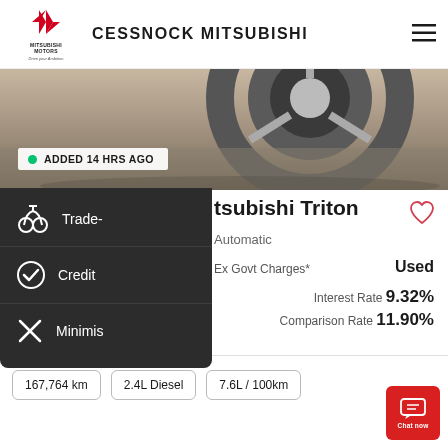[Figure (logo): Mitsubishi Motors logo with diamond mark, text MITSUBISHI MOTORS, Drive your Ambition tagline]
CESSNOCK MITSUBISHI
[Figure (photo): Close-up of a car wheel/tyre, grey tones]
ADDED 14 HRS AGO
[Figure (screenshot): Dropdown menu overlay with three items: Trade-, Credit, Minimis]
tsubishi Triton
Automatic
Ex Govt Charges*
Used
Interest Rate 9.32%
Comparison Rate 11.90%
Per week
167,764 km
2.4L Diesel
7.6L / 100km